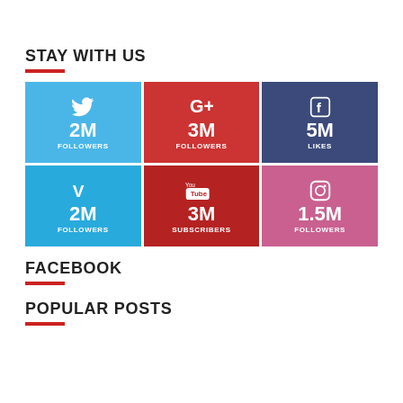STAY WITH US
[Figure (infographic): Social media follower counts in a 3x2 grid: Twitter 2M Followers (light blue), Google+ 3M Followers (red), Facebook 5M Likes (dark blue), Vimeo 2M Followers (blue), YouTube 3M Subscribers (dark red), Instagram 1.5M Followers (pink)]
FACEBOOK
POPULAR POSTS